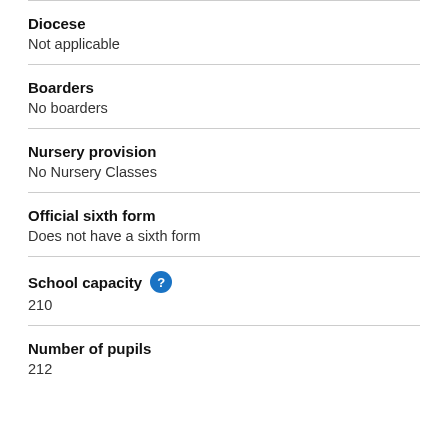Diocese
Not applicable
Boarders
No boarders
Nursery provision
No Nursery Classes
Official sixth form
Does not have a sixth form
School capacity
210
Number of pupils
212